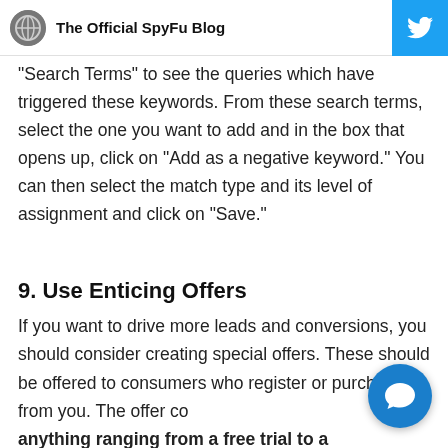The Official SpyFu Blog
“Search Terms” to see the queries which have triggered these keywords. From these search terms, select the one you want to add and in the box that opens up, click on “Add as a negative keyword.” You can then select the match type and its level of assignment and click on “Save.”
9. Use Enticing Offers
If you want to drive more leads and conversions, you should consider creating special offers. These should be offered to consumers who register or purchase from you. The offer co anything ranging from a free trial to a discount.